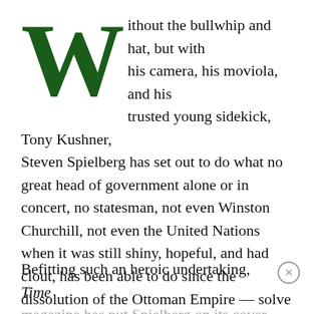Without the bullwhip and hat, but with his camera, his moviola, and his trusted young sidekick, Tony Kushner, Steven Spielberg has set out to do what no great head of government alone or in concert, no statesman, not even Winston Churchill, not even the United Nations when it was still shiny, hopeful, and had clout, has been able to do since the dissolution of the Ottoman Empire — solve the riddle of the Middle East.
Befitting such an heroic undertaking, Time magazine has put Spielberg on its cover and gave him eight pages of copy and pictures with which to